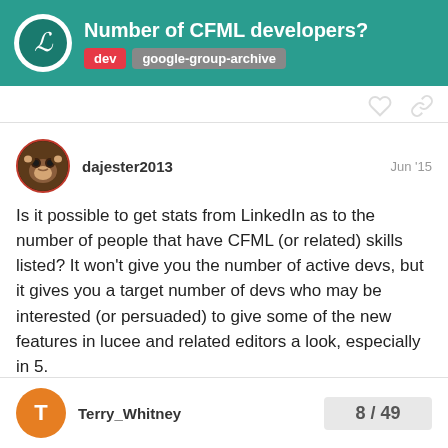Number of CFML developers? | dev | google-group-archive
Is it possible to get stats from LinkedIn as to the number of people that have CFML (or related) skills listed? It won't give you the number of active devs, but it gives you a target number of devs who may be interested (or persuaded) to give some of the new features in lucee and related editors a look, especially in 5.
dajester2013 — Jun '15
Terry_Whitney
8 / 49